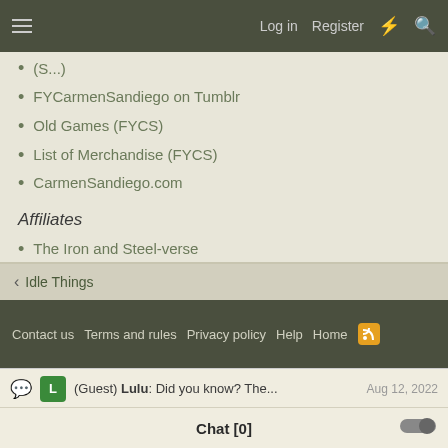Log in  Register
(S...)
FYCarmenSandiego on Tumblr
Old Games (FYCS)
List of Merchandise (FYCS)
CarmenSandiego.com
Affiliates
The Iron and Steel-verse
< Idle Things
Contact us  Terms and rules  Privacy policy  Help  Home
(Guest) Lulu: Did you know? The...  Aug 12, 2022
Chat [0]